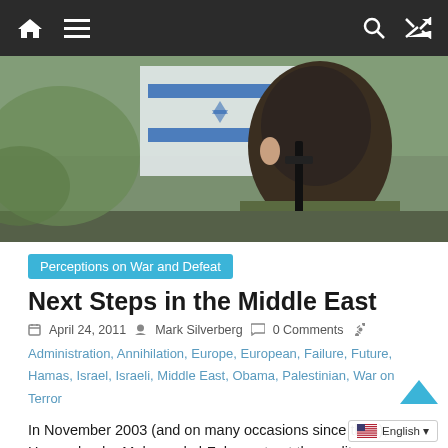Navigation bar with home, menu, search, and shuffle icons
[Figure (photo): Close-up of the back of a soldier's head with a blurred Israeli flag in the background]
Perceptions on War and Defeat
Next Steps in the Middle East
April 24, 2011  Mark Silverberg  0 Comments
Administration, Annihilation, Europe, European, Failure, Future, Hamas, Israel, Israeli, Middle East, Obama, Palestinian, War on Terror
In November 2003 (and on many occasions since then), Hamas leader Mahmoud al-Zahar set out the reality under which Israel